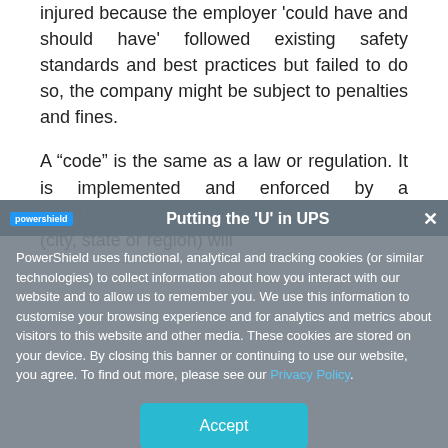injured because the employer 'could have and should have' followed existing safety standards and best practices but failed to do so, the company might be subject to penalties and fines.
A “code” is the same as a law or regulation. It is implemented and enforced by a government body. Typically a government (city, state or region) will
[Figure (screenshot): Cookie consent overlay banner from PowerShield website, showing cookie policy text and an Accept button. Background shows partially visible article page with header 'Putting the U in UPS'.]